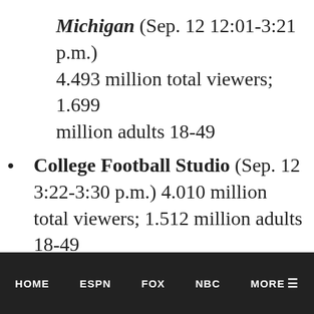Michigan (Sep. 12 12:01-3:21 p.m.) 4.493 million total viewers; 1.699 million adults 18-49
College Football Studio (Sep. 12 3:22-3:30 p.m.) 4.010 million total viewers; 1.512 million adults 18-49
College Football Notre Dame at Virginia (Sep. 12 3:30-7:10 p.m.) 5.744 million total viewers; 2.118 million adults 18-49
Saturday Night Football Pre-Game (Sep. 12 8:00-8:06 p.m.) 4.813 million
HOME   ESPN   FOX   NBC   MORE